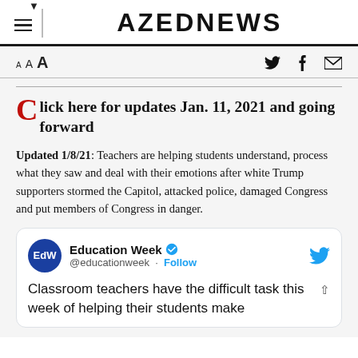AZEDNEWS
A AA A (font size controls) | twitter, facebook, email icons
Click here for updates Jan. 11, 2021 and going forward
Updated 1/8/21: Teachers are helping students understand, process what they saw and deal with their emotions after white Trump supporters stormed the Capitol, attacked police, damaged Congress and put members of Congress in danger.
[Figure (screenshot): Embedded tweet from Education Week (@educationweek) with verified checkmark and Follow button. Text reads: 'Classroom teachers have the difficult task this week of helping their students make']